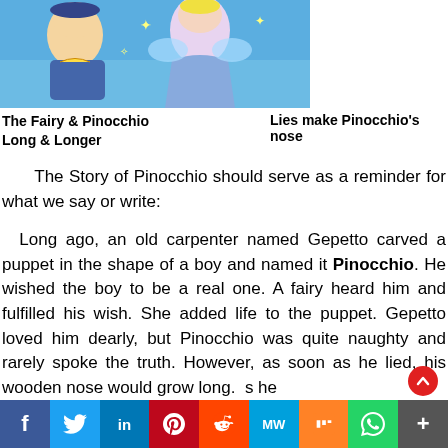[Figure (illustration): Cartoon illustration of The Fairy and Pinocchio characters from the story, shown as animated Disney-style figures against a blue background]
The Fairy & Pinocchio Long & Longer
Lies make Pinocchio's nose
The Story of Pinocchio should serve as a reminder for what we say or write:
Long ago, an old carpenter named Gepetto carved a puppet in the shape of a boy and named it Pinocchio. He wished the boy to be a real one. A fairy heard him and fulfilled his wish. She added life to the puppet. Gepetto loved him dearly, but Pinocchio was quite naughty and rarely spoke the truth. However, as soon as he lied, his wooden nose would grow long. As he
f  Twitter  in  Pinterest  Reddit  MW  Mix  WhatsApp  More